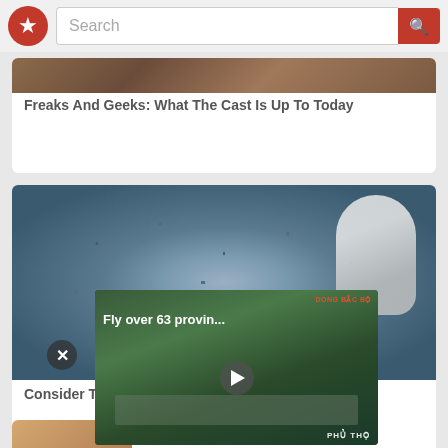[Figure (screenshot): App top bar with red star logo and search bar with orange search button]
[Figure (photo): Partial image of food/hands at top of first card]
Freaks And Geeks: What The Cast Is Up To Today
[Figure (photo): Close-up photo of chia seeds on a white spoon with water droplets]
Consider These... Faster Than Fa...
[Figure (screenshot): Video overlay showing aerial drone footage with text 'Fly over 63 provin...' and location tags 'DONG BAC BO' and 'PHU THO' with a play button]
[Figure (photo): Partial bottom card showing person's arm/body]